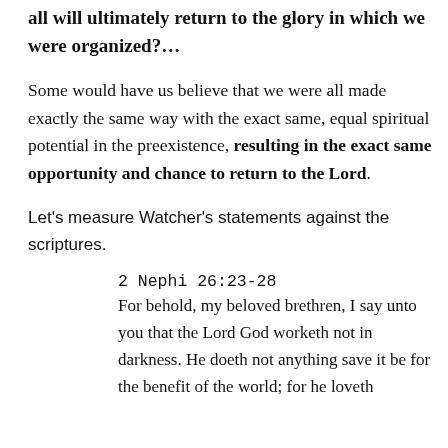all will ultimately return to the glory in which we were organized?…
Some would have us believe that we were all made exactly the same way with the exact same, equal spiritual potential in the preexistence, resulting in the exact same opportunity and chance to return to the Lord.
Let's measure Watcher's statements against the scriptures.
2 Nephi 26:23-28
For behold, my beloved brethren, I say unto you that the Lord God worketh not in darkness. He doeth not anything save it be for the benefit of the world; for he loveth